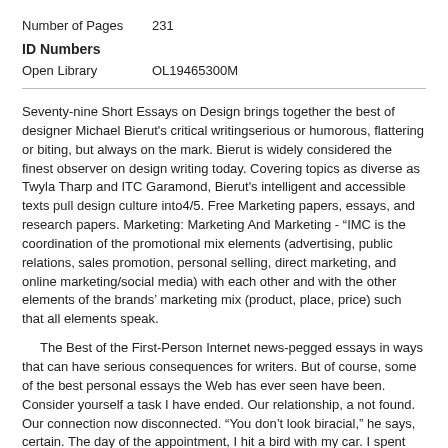| Number of Pages | 231 |
| ID Numbers |  |
| Open Library | OL19465300M |
Seventy-nine Short Essays on Design brings together the best of designer Michael Bierut's critical writingserious or humorous, flattering or biting, but always on the mark. Bierut is widely considered the finest observer on design writing today. Covering topics as diverse as Twyla Tharp and ITC Garamond, Bierut's intelligent and accessible texts pull design culture into4/5. Free Marketing papers, essays, and research papers. Marketing: Marketing And Marketing - “IMC is the coordination of the promotional mix elements (advertising, public relations, sales promotion, personal selling, direct marketing, and online marketing/social media) with each other and with the other elements of the brands’ marketing mix (product, place, price) such that all elements speak.
The Best of the First-Person Internet news-pegged essays in ways that can have serious consequences for writers. But of course, some of the best personal essays the Web has ever seen have been. Consider yourself a task I have ended. Our relationship, a not found. Our connection now disconnected. “You don’t look biracial,” he says, certain. The day of the appointment, I hit a bird with my car. I spent the better part of a drive trying to say what love is and still can’t. When I was young I never thought about my neck.